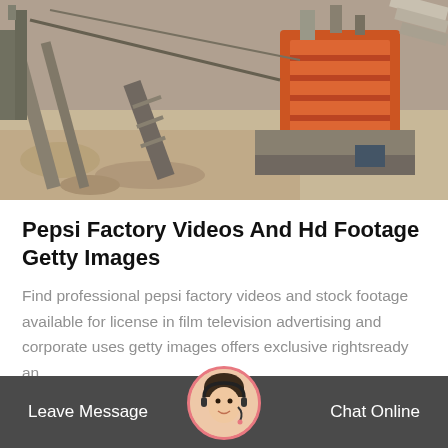[Figure (photo): Aerial or elevated view of a construction/industrial factory site with orange machinery, conveyor belts, crushed stone, and scaffolding structures]
Pepsi Factory Videos And Hd Footage Getty Images
Find professional pepsi factory videos and stock footage available for license in film television advertising and corporate uses getty images offers exclusive rightsready an…
Get Price
Leave Message   Chat Online